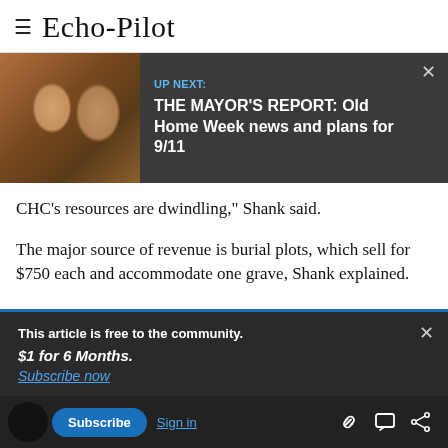Echo-Pilot
[Figure (screenshot): UP NEXT banner with photo of two people and text: UP NEXT: THE MAYOR'S REPORT: Old Home Week news and plans for 9/11]
CHC's resources are dwindling," Shank said.
The major source of revenue is burial plots, which sell for $750 each and accommodate one grave, Shank explained.
This article is free to the community.
$1 for 6 Months.
Subscribe now